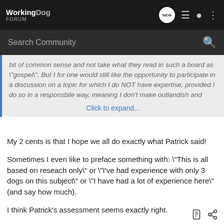WorkingDog FORUM
Search Community
bit of common sense and not take what they read in such a board as "gospel". But I for one would still like the opportunity to participate in a discussion on a topic for which I do NOT have expertise, provided I do so in a responsbile way, meaning I don't make outlandish and
Click to expand...
My 2 cents is that I hope we all do exactly what Patrick said!
Sometimes I even like to preface something with: "This is all based on reseach only" or "I've had experience with only 3 dogs on this subject" or "I have had a lot of experience here" (and say how much).
I think Patrick's assessment seems exactly right.